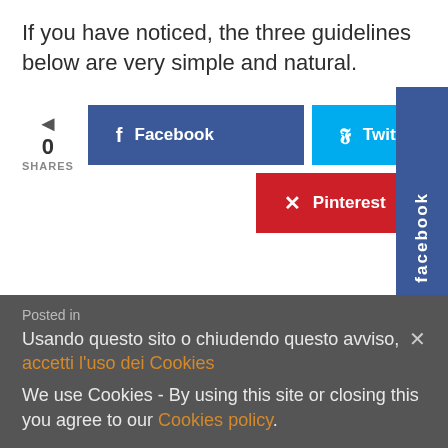If you have noticed, the three guidelines below are very simple and natural.
[Figure (infographic): Social share buttons: Facebook (blue), Twitter (cyan), Pinterest (red), with a share count of 0, and a Facebook sidebar tab]
Posted in
Usando questo sito o chiudendo questo avviso, accetti l'uso dei Cookies
We use Cookies - By using this site or closing this you agree to our Cookies policy.